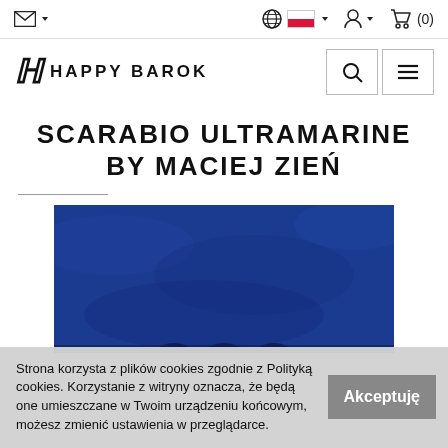Happy Barok navigation bar with email icon, globe/language selector, Polish flag, account icon, cart (0)
[Figure (logo): Happy Barok logo with stylized HB monogram and text HAPPY BAROK, search and menu buttons]
SCARABIO ULTRAMARINE BY MACIEJ ZIEŃ
[Figure (photo): Close-up of dark ultramarine blue fabric/textile material]
Strona korzysta z plików cookies zgodnie z Polityką cookies. Korzystanie z witryny oznacza, że będą one umieszczane w Twoim urządzeniu końcowym, możesz zmienić ustawienia w przeglądarce.